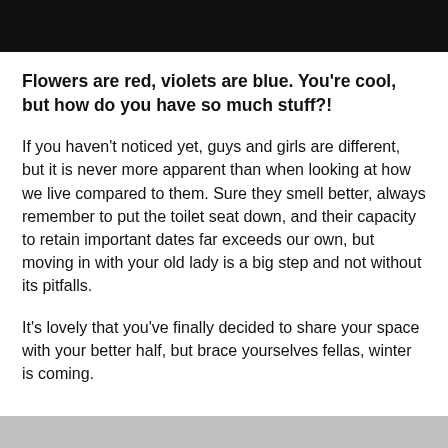Flowers are red, violets are blue. You're cool, but how do you have so much stuff?!
If you haven't noticed yet, guys and girls are different, but it is never more apparent than when looking at how we live compared to them. Sure they smell better, always remember to put the toilet seat down, and their capacity to retain important dates far exceeds our own, but moving in with your old lady is a big step and not without its pitfalls.
It's lovely that you've finally decided to share your space with your better half, but brace yourselves fellas, winter is coming.